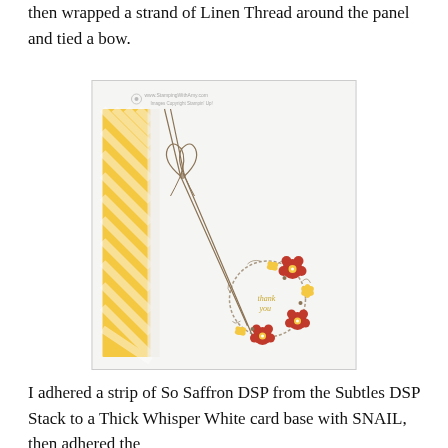then wrapped a strand of Linen Thread around the panel and tied a bow.
[Figure (photo): A handmade greeting card featuring a yellow and white diagonal striped panel on the left side, linen thread wrapped around and tied in a bow near the top, with two trailing threads extending diagonally down to a decorative twig wreath in the lower right corner adorned with red and yellow paper flowers. The card has a white background. A watermark reads www.StampingWithAmy.com.]
I adhered a strip of So Saffron DSP from the Subtles DSP Stack to a Thick Whisper White card base with SNAIL, then adhered the